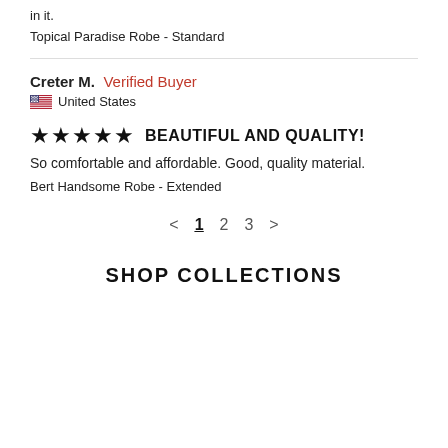in it.
Topical Paradise Robe - Standard
Creter M.  Verified Buyer
🇺🇸 United States
★★★★★  BEAUTIFUL AND QUALITY!
So comfortable and affordable. Good, quality material.
Bert Handsome Robe - Extended
< 1 2 3 >
SHOP COLLECTIONS